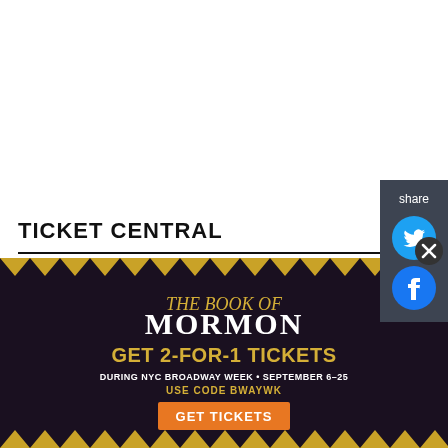TICKET CENTRAL
This Week's HOT Shows
[Figure (illustration): Stage Mag digital show program logo — black background with red diagonal stripe, white bold text reading 'stage mag', smaller text 'digital show program']
[Figure (illustration): Hamilton Broadway show image — dark background with red velvet curtains, gold star logo with 'Hamilton' text]
STAGE MAG
SHOP BROADWAY
MJ, THE MUSICAL
HAMILTON
[Figure (infographic): Advertisement banner for The Book of Mormon — dark background with gold spiky border, text: THE BOOK OF MORMON, GET 2-FOR-1 TICKETS, DURING NYC BROADWAY WEEK • SEPTEMBER 6-25, USE CODE BWAYWK, GET TICKETS button in orange]
[Figure (illustration): Share sidebar with Twitter and Facebook icons on dark grey background]